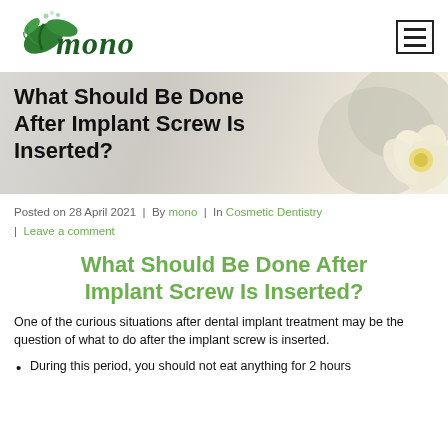mono (logo) | hamburger menu
[Figure (photo): Hero banner image with a light grey and warm toned background and a white flower with yellow center on the right side. Large bold text: What Should Be Done After Implant Screw Is Inserted?]
Posted on 28 April 2021  |  By mono  |  In Cosmetic Dentistry  |  Leave a comment
What Should Be Done After Implant Screw Is Inserted?
One of the curious situations after dental implant treatment may be the question of what to do after the implant screw is inserted.
During this period, you should not eat anything for 2 hours